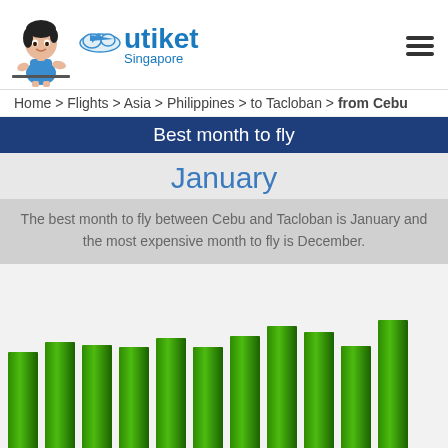[Figure (logo): Utiket Singapore logo with cartoon mascot (girl in blue outfit) and airplane cloud icon]
Home > Flights > Asia > Philippines > to Tacloban > from Cebu
Best month to fly
January
The best month to fly between Cebu and Tacloban is January and the most expensive month to fly is December.
[Figure (bar-chart): Best month to fly (Cebu to Tacloban)]